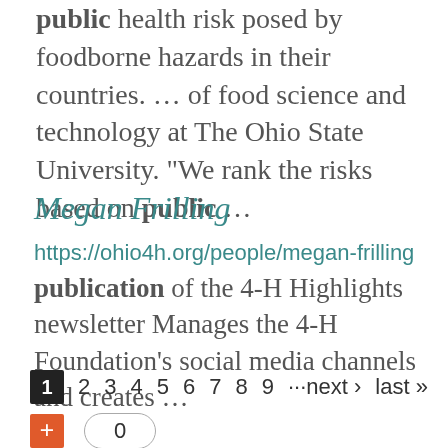public health risk posed by foodborne hazards in their countries. ... of food science and technology at The Ohio State University. “We rank the risks based on public ...
Megan Frilling
https://ohio4h.org/people/megan-frilling
publication of the 4-H Highlights newsletter Manages the 4-H Foundation’s social media channels and creates ...
1 2 3 4 5 6 7 8 9 ···next › last »